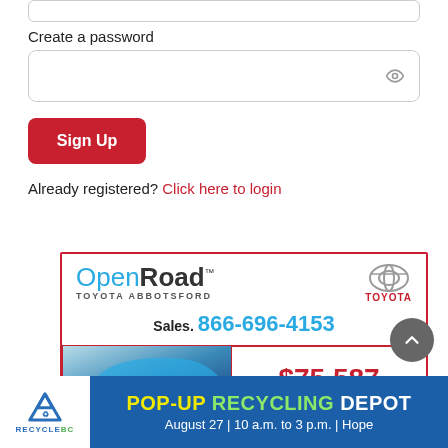Create a password
[Figure (screenshot): Password input field with eye/show-password icon on the right]
[Figure (screenshot): Red 'Sign Up' button]
Already registered? Click here to login
[Figure (illustration): OpenRoad Toyota Abbotsford advertisement. Sales. 866-696-4153. Price $75,587. Shows a blue Toyota vehicle.]
[Figure (illustration): RecycleBC banner ad: POP-UP RECYCLING DEPOT — August 27 | 10 a.m. to 3 p.m. | Hope]